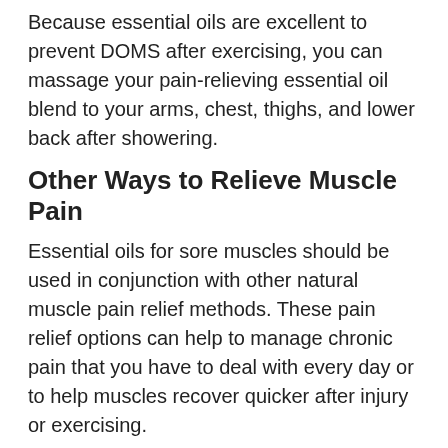Because essential oils are excellent to prevent DOMS after exercising, you can massage your pain-relieving essential oil blend to your arms, chest, thighs, and lower back after showering.
Other Ways to Relieve Muscle Pain
Essential oils for sore muscles should be used in conjunction with other natural muscle pain relief methods. These pain relief options can help to manage chronic pain that you have to deal with every day or to help muscles recover quicker after injury or exercising.
Soak in a bath
One way to help relieve chronic muscle pain is to soak in a warm bath to relax your muscles. According to the North American Journal of